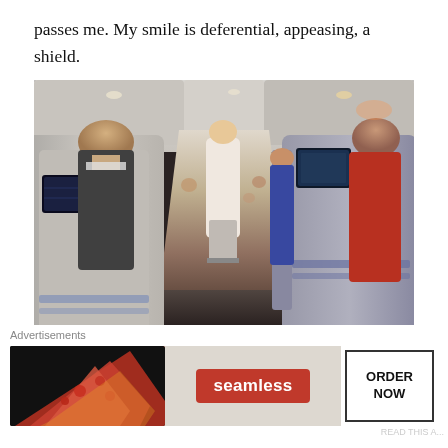passes me. My smile is deferential, appeasing, a shield.
[Figure (photo): Interior of a commercial airplane cabin showing rows of seats with passengers, a flight attendant walking down the aisle, and seat-back entertainment screens visible]
When we get to the plane, I find my seat. In first class,
Advertisements
[Figure (other): Seamless food delivery advertisement showing pizza image, Seamless red logo, and ORDER NOW button]